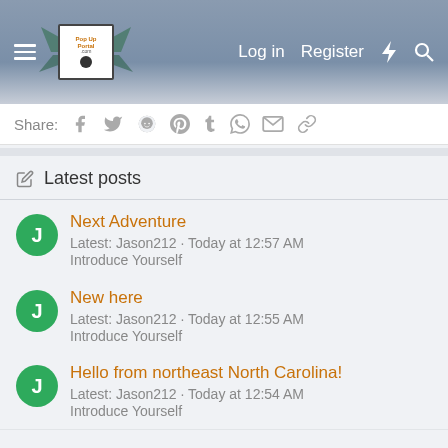[Figure (screenshot): Website header with PopUpPortal.com logo, hamburger menu, Log in, Register, lightning bolt icon, and search icon on a blue-grey gradient background]
Share: [social media icons: Facebook, Twitter, Reddit, Pinterest, Tumblr, WhatsApp, Email, Link]
Latest posts
Next Adventure
Latest: Jason212 · Today at 12:57 AM
Introduce Yourself
New here
Latest: Jason212 · Today at 12:55 AM
Introduce Yourself
Hello from northeast North Carolina!
Latest: Jason212 · Today at 12:54 AM
Introduce Yourself
What is camping.. Pictures ONLY!
Latest: LlamaLlama · Today at 12:08 AM
General Camping Discussion Forum